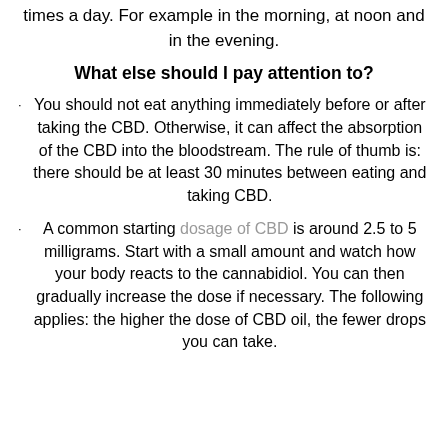times a day. For example in the morning, at noon and in the evening.
What else should I pay attention to?
You should not eat anything immediately before or after taking the CBD. Otherwise, it can affect the absorption of the CBD into the bloodstream. The rule of thumb is: there should be at least 30 minutes between eating and taking CBD.
A common starting dosage of CBD is around 2.5 to 5 milligrams. Start with a small amount and watch how your body reacts to the cannabidiol. You can then gradually increase the dose if necessary. The following applies: the higher the dose of CBD oil, the fewer drops you can take.